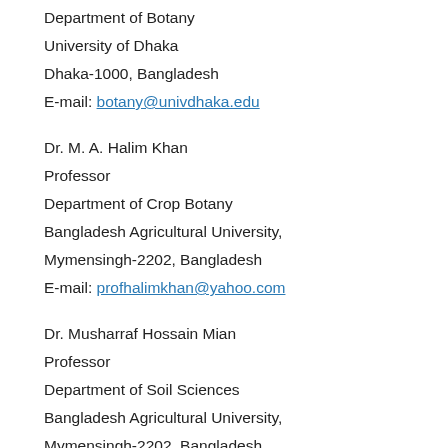Department of Botany
University of Dhaka
Dhaka-1000, Bangladesh
E-mail: botany@univdhaka.edu
Dr. M. A. Halim Khan
Professor
Department of Crop Botany
Bangladesh Agricultural University,
Mymensingh-2202, Bangladesh
E-mail: profhalimkhan@yahoo.com
Dr. Musharraf Hossain Mian
Professor
Department of Soil Sciences
Bangladesh Agricultural University,
Mymensingh-2202, Bangladesh
E-mail: mhmian.bau@gmail.com